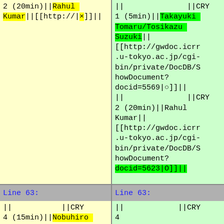2 (20min)||Rahul Kumar||[[http://|×]]||
|| ||CRY 1 (5min)||Takayuki Tomaru/Tosikazu Suzuki||[[http://gwdoc.icrr.u-tokyo.ac.jp/cgi-bin/private/DocDB/ShowDocument?docid=5569|○]]|| || ||CRY 2 (20min)||Rahul Kumar||[[http://gwdoc.icrr.u-tokyo.ac.jp/cgi-bin/private/DocDB/ShowDocument?docid=5623|O]]||
Line 63:
Line 63:
|| ||CRY 4 (15min)||Nobuhiro Kimura||[[http://|×]]||
|| ||CRY 4 (15min)||Tosikazu Suzuki||[[http://gwdoc.icrr.u-tokyo.ac.jp/cgi-